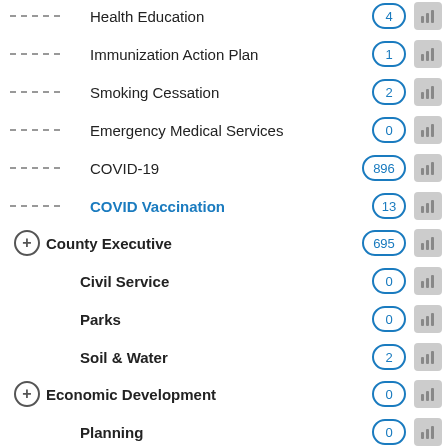Health Education
Immunization Action Plan
Smoking Cessation
Emergency Medical Services
COVID-19
COVID Vaccination
County Executive
Civil Service
Parks
Soil & Water
Economic Development
Planning
CJCC
Public Works
Minority Affairs